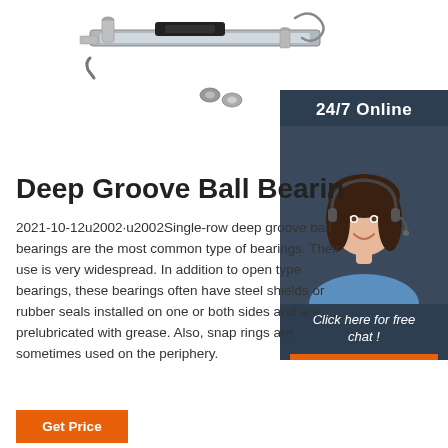[Figure (photo): Product photo showing various hardware components including metal screws, bolts, brackets, an allen key, a black USB-like piece, and small metal fasteners on a white background.]
[Figure (photo): 24/7 Online customer service representative - a woman with dark hair wearing a headset and a blue shirt, smiling, overlaid on a dark navy background panel with the text '24/7 Online' and 'Click here for free chat!' and a QUOTATION button.]
Deep Groove Ball Bearin
2021-10-12u2002·u2002Single-row deep groove ball bearings are the most common type of bearings. Their use is very widespread. In addition to open type bearings, these bearings often have steel shields or rubber seals installed on one or both sides and are prelubricated with grease. Also, snap rings are sometimes used on the periphery.
Get Price